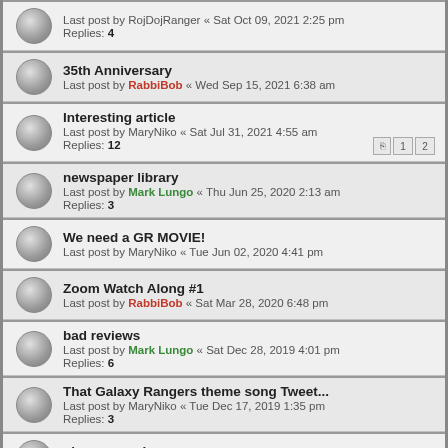Last post by RojDojRanger « Sat Oct 09, 2021 2:25 pm
Replies: 4
35th Anniversary
Last post by RabbiBob « Wed Sep 15, 2021 6:38 am
Interesting article
Last post by MaryNiko « Sat Jul 31, 2021 4:55 am
Replies: 12
newspaper library
Last post by Mark Lungo « Thu Jun 25, 2020 2:13 am
Replies: 3
We need a GR MOVIE!
Last post by MaryNiko « Tue Jun 02, 2020 4:41 pm
Zoom Watch Along #1
Last post by RabbiBob « Sat Mar 28, 2020 6:48 pm
bad reviews
Last post by Mark Lungo « Sat Dec 28, 2019 4:01 pm
Replies: 6
That Galaxy Rangers theme song Tweet...
Last post by MaryNiko « Tue Dec 17, 2019 1:35 pm
Replies: 3
play on words
Last post by RabbiBob « Sat Nov 23, 2019 8:48 pm